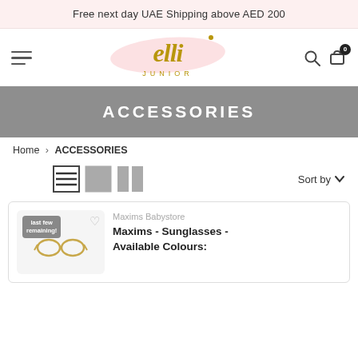Free next day UAE Shipping above AED 200
[Figure (logo): Elli Junior logo with pink brush stroke and gold script text, hamburger menu icon, search icon, cart icon with 0 badge]
ACCESSORIES
Home > ACCESSORIES
[Figure (infographic): View toggle icons (list view, single grid, double grid) and Sort by dropdown]
Maxims Babystore
Maxims - Sunglasses - Available Colours: